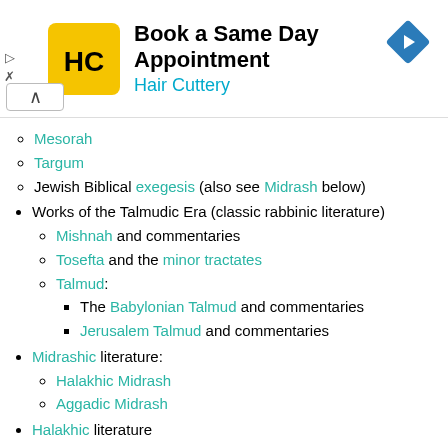[Figure (other): Advertisement banner for Hair Cuttery: Book a Same Day Appointment]
Mesorah
Targum
Jewish Biblical exegesis (also see Midrash below)
Works of the Talmudic Era (classic rabbinic literature)
Mishnah and commentaries
Tosefta and the minor tractates
Talmud:
The Babylonian Talmud and commentaries
Jerusalem Talmud and commentaries
Midrashic literature:
Halakhic Midrash
Aggadic Midrash
Halakhic literature
Major Codes of Jewish Law and Custom
Mishneh Torah and commentaries
Tur and commentaries
Shulchan Aruch and commentaries
Responsa literature
Jewish Thought and Ethics
Jewish philosophy